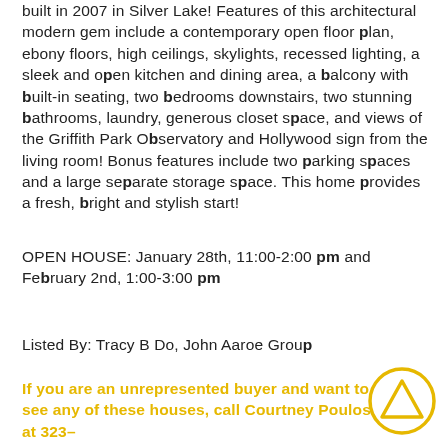built in 2007 in Silver Lake! Features of this architectural modern gem include a contemporary open floor plan, ebony floors, high ceilings, skylights, recessed lighting, a sleek and open kitchen and dining area, a balcony with built-in seating, two bedrooms downstairs, two stunning bathrooms, laundry, generous closet space, and views of the Griffith Park Observatory and Hollywood sign from the living room! Bonus features include two parking spaces and a large separate storage space. This home provides a fresh, bright and stylish start!
OPEN HOUSE: January 28th, 11:00-2:00 pm and February 2nd, 1:00-3:00 pm
Listed By: Tracy B Do, John Aaroe Group
If you are an unrepresented buyer and want to see any of these houses, call Courtney Poulos at 323–
[Figure (logo): Circular logo with upward-pointing triangle arrow, yellow border]